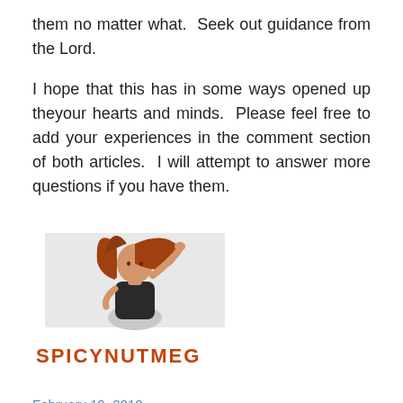them no matter what.  Seek out guidance from the Lord.
I hope that this has in some ways opened up theyour hearts and minds.  Please feel free to add your experiences in the comment section of both articles.  I will attempt to answer more questions if you have them.
[Figure (logo): SpicyNutmeg logo featuring an illustrated woman with red hair and the text SPICYNUTMEG in orange-brown bold letters]
February 19, 2010
Search Box: